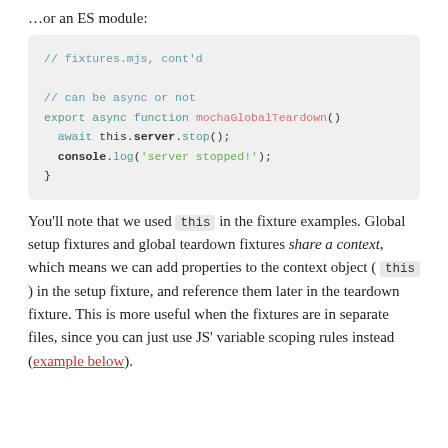…or an ES module:
[Figure (screenshot): Code block showing ES module fixture example with mochaGlobalTeardown function, comments, await this.server.stop(), and console.log]
You'll note that we used this in the fixture examples. Global setup fixtures and global teardown fixtures share a context, which means we can add properties to the context object ( this ) in the setup fixture, and reference them later in the teardown fixture. This is more useful when the fixtures are in separate files, since you can just use JS' variable scoping rules instead (example below).